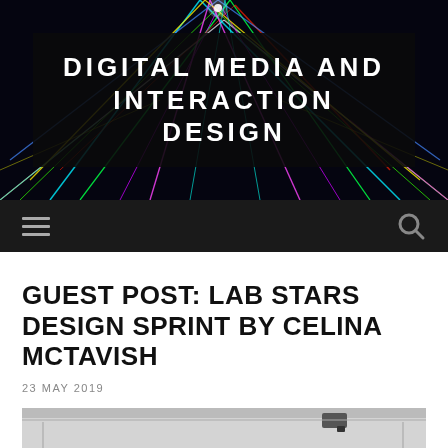[Figure (photo): Website header banner with colorful laser light beams on dark background, with title text overlay 'DIGITAL MEDIA AND INTERACTION DESIGN' in white bold uppercase letters on dark semi-transparent box]
DIGITAL MEDIA AND INTERACTION DESIGN
[Figure (other): Dark navigation bar with hamburger menu icon on the left and search icon on the right]
GUEST POST: LAB STARS DESIGN SPRINT BY CELINA MCTAVISH
23 MAY 2019
[Figure (photo): Partial photo of what appears to be a room with a projector mounted on the ceiling]